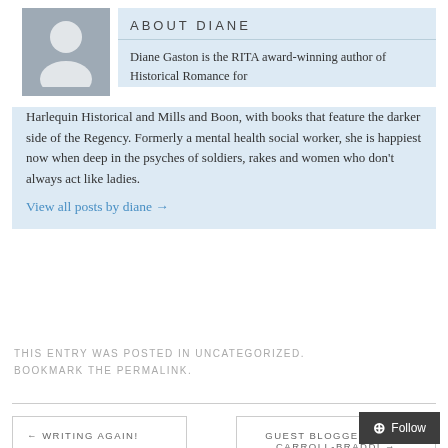[Figure (photo): Generic avatar/placeholder silhouette of a person on grey background]
ABOUT DIANE
Diane Gaston is the RITA award-winning author of Historical Romance for Harlequin Historical and Mills and Boon, with books that feature the darker side of the Regency. Formerly a mental health social worker, she is happiest now when deep in the psyches of soldiers, rakes and women who don't always act like ladies.
View all posts by diane →
THIS ENTRY WAS POSTED IN UNCATEGORIZED. BOOKMARK THE PERMALINK.
← WRITING AGAIN!
GUEST BLOGGER LINDA CARROLL-BRADD! →
Follow